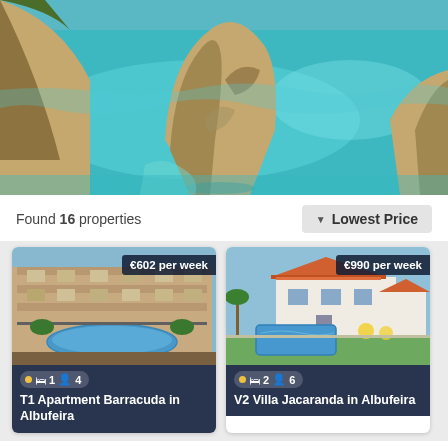[Figure (photo): Aerial photo of turquoise sea with large coastal limestone rock formations and cliffs, Algarve, Portugal]
Found 16 properties
Lowest Price
[Figure (photo): T1 Apartment Barracuda in Albufeira – photo of apartment building with pool, price €602 per week, 1 bedroom, 4 guests]
[Figure (photo): V2 Villa Jacaranda in Albufeira – photo of white villa with pool and garden, price €990 per week, 2 bedrooms]